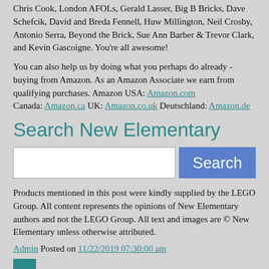Chris Cook, London AFOLs, Gerald Lasser, Big B Bricks, Dave Schefcik, David and Breda Fennell, Huw Millington, Neil Crosby, Antonio Serra, Beyond the Brick, Sue Ann Barber & Trevor Clark, and Kevin Gascoigne. You're all awesome!
You can also help us by doing what you perhaps do already - buying from Amazon. As an Amazon Associate we earn from qualifying purchases. Amazon USA: Amazon.com Canada: Amazon.ca UK: Amazon.co.uk Deutschland: Amazon.de
Search New Elementary
[Figure (other): Search input box and Search button]
Products mentioned in this post were kindly supplied by the LEGO Group. All content represents the opinions of New Elementary authors and not the LEGO Group. All text and images are © New Elementary unless otherwise attributed.
Admin Posted on 11/22/2019 07:30:00 am